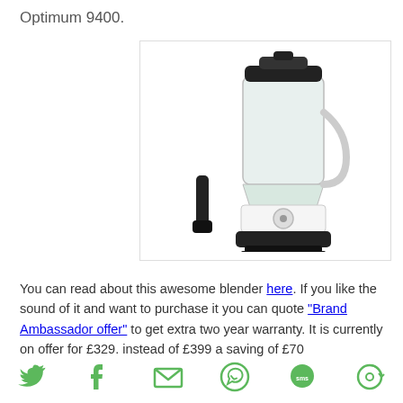Optimum 9400.
[Figure (photo): Product photo of the Optimum 9400 blender with tamper, white base, clear jug, black lid, shown on white background with light grey border.]
You can read about this awesome blender here. If you like the sound of it and want to purchase it you can quote "Brand Ambassador offer" to get extra two year warranty. It is currently on offer for £329. instead of £399 a saving of £70
[Figure (infographic): Row of social sharing icons: Twitter (bird), Facebook (f), Email (envelope), WhatsApp (phone in chat bubble), SMS (chat bubble with SMS), and a share/orbit icon. Icons are green.]